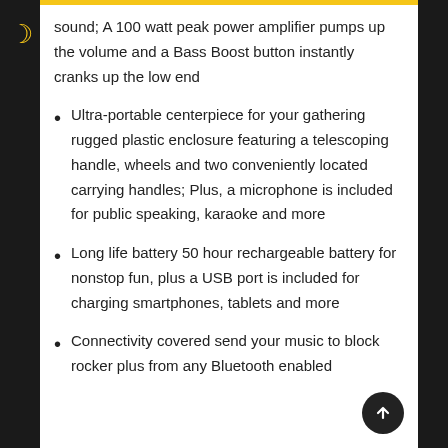sound; A 100 watt peak power amplifier pumps up the volume and a Bass Boost button instantly cranks up the low end
Ultra-portable centerpiece for your gathering rugged plastic enclosure featuring a telescoping handle, wheels and two conveniently located carrying handles; Plus, a microphone is included for public speaking, karaoke and more
Long life battery 50 hour rechargeable battery for nonstop fun, plus a USB port is included for charging smartphones, tablets and more
Connectivity covered send your music to block rocker plus from any Bluetooth enabled